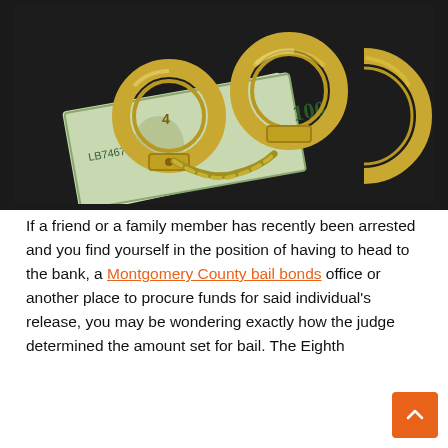[Figure (photo): Handcuffs resting on top of US $100 dollar bills on a dark background]
If a friend or a family member has recently been arrested and you find yourself in the position of having to head to the bank, a Montgomery County bail bonds office or another place to procure funds for said individual's release, you may be wondering exactly how the judge determined the amount set for bail. The Eighth